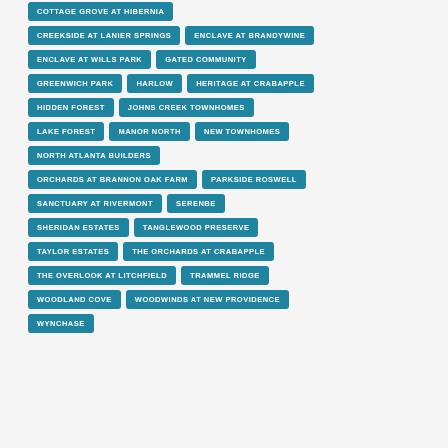COTTAGE GROVE AT HIBERNIA
CREEKSIDE AT LANIER SPRINGS
ENCLAVE AT BRANDYWINE
ENCLAVE AT WILLS PARK
GATED COMMUNITY
GREENWICH PARK
HARLOW
HERITAGE AT CRABAPPLE
HIDDEN FOREST
JOHNS CREEK TOWNHOMES
LAKE FOREST
MANOR NORTH
NEW TOWNHOMES
NORTH ATLANTA BUILDERS
ORCHARDS AT BRANNON OAK FARM
PARKSIDE ROSWELL
SANCTUARY AT RIVERMONT
SERENBE
SHERIDAN ESTATES
TANGLEWOOD PRESERVE
TAYLOR ESTATES
THE ORCHARDS AT CRABAPPLE
THE OVERLOOK AT LITCHFIELD
TRAMMEL RIDGE
WOODLAND COVE
WOODWINDS AT NEW PROVIDENCE
WYNCHASE